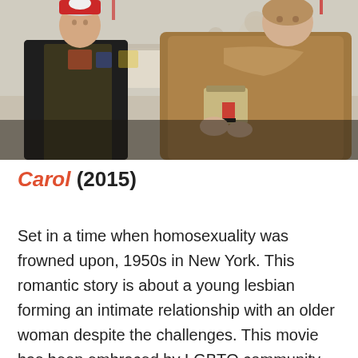[Figure (photo): A film still from Carol (2015) showing two women in a department store setting. One woman on the left wears a dark vest over a mustard/olive sweater and a holiday hat. The other woman on the right wears a large brown fur coat and holds a small handbag. The background shows a busy retail store with Christmas decorations.]
Carol (2015)
Set in a time when homosexuality was frowned upon, 1950s in New York. This romantic story is about a young lesbian forming an intimate relationship with an older woman despite the challenges. This movie has been embraced by LGBTQ community for telling a rare tale.